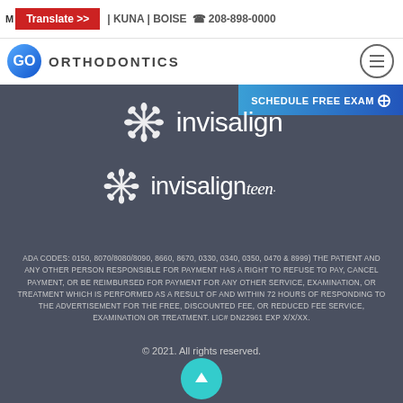Translate >> | KUNA | BOISE 208-898-0000
[Figure (logo): Go Orthodontics logo with circular GO emblem and hamburger menu icon]
[Figure (logo): Invisalign logo with snowflake icon on dark background, with Schedule Free Exam button]
[Figure (logo): Invisalign Teen logo with snowflake icon on dark background]
ADA CODES: 0150, 8070/8080/8090, 8660, 8670, 0330, 0340, 0350, 0470 & 8999) THE PATIENT AND ANY OTHER PERSON RESPONSIBLE FOR PAYMENT HAS A RIGHT TO REFUSE TO PAY, CANCEL PAYMENT, OR BE REIMBURSED FOR PAYMENT FOR ANY OTHER SERVICE, EXAMINATION, OR TREATMENT WHICH IS PERFORMED AS A RESULT OF AND WITHIN 72 HOURS OF RESPONDING TO THE ADVERTISEMENT FOR THE FREE, DISCOUNTED FEE, OR REDUCED FEE SERVICE, EXAMINATION OR TREATMENT. LIC# DN22961 EXP X/X/XX.
© 2021. All rights reserved.